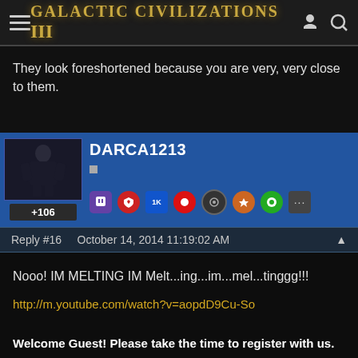Galactic Civilizations III
They look foreshortened because you are very, very close to them.
DARCA1213 +106 Reply #16 October 14, 2014 11:19:02 AM
Nooo! IM MELTING IM Melt...ing...im...mel...tinggg!!!
http://m.youtube.com/watch?v=aopdD9Cu-So
Welcome Guest! Please take the time to register with us.